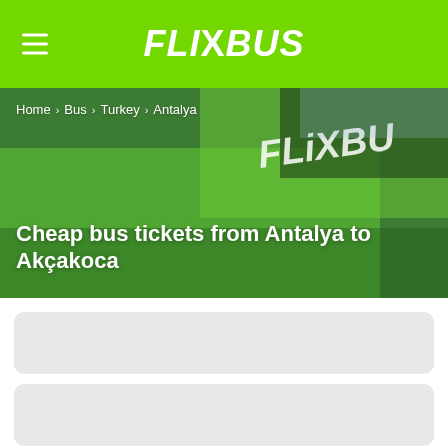FlixBus
[Figure (photo): Green FlixBus vehicle close-up with FlixBus logo, used as hero banner background]
Home > Bus > Turkey > Antalya
Cheap bus tickets from Antalya to Akçakoca